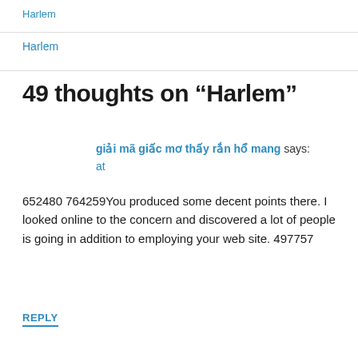Harlem
49 thoughts on “Harlem”
giải mã giấc mơ thấy rắn hổ mang says:
at
652480 764259You produced some decent points there. I looked online to the concern and discovered a lot of people is going in addition to employing your web site. 497757
REPLY